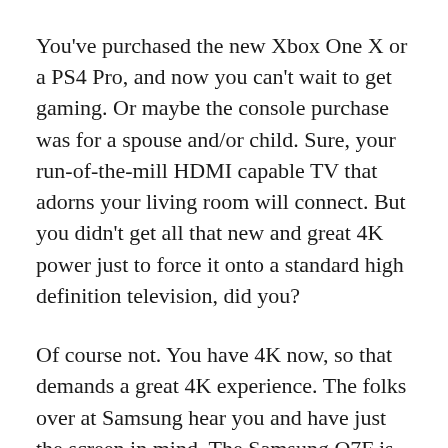You've purchased the new Xbox One X or a PS4 Pro, and now you can't wait to get gaming. Or maybe the console purchase was for a spouse and/or child. Sure, your run-of-the-mill HDMI capable TV that adorns your living room will connect. But you didn't get all that new and great 4K power just to force it onto a standard high definition television, did you?
Of course not. You have 4K now, so that demands a great 4K experience. The folks over at Samsung hear you and have just the screen in mind. The Samsung Q7F is the perfect TV for your 4K movies or games. It's great for media consumption, with four HDMI ports and three USB ports. These can be used individually, or you can connect all your devices to the Samsung One